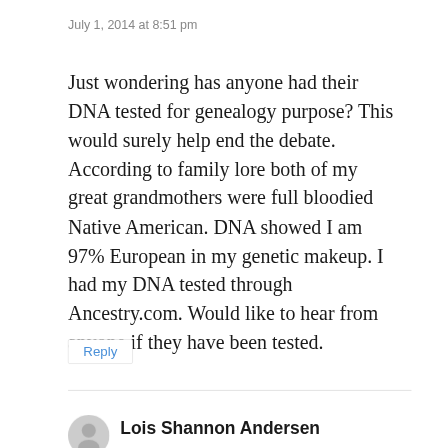July 1, 2014 at 8:51 pm
Just wondering has anyone had their DNA tested for genealogy purpose? This would surely help end the debate. According to family lore both of my great grandmothers were full bloodied Native American. DNA showed I am 97% European in my genetic makeup. I had my DNA tested through Ancestry.com. Would like to hear from anyone if they have been tested.
Reply
Lois Shannon Andersen
October 19, 2020 at 1:22 am